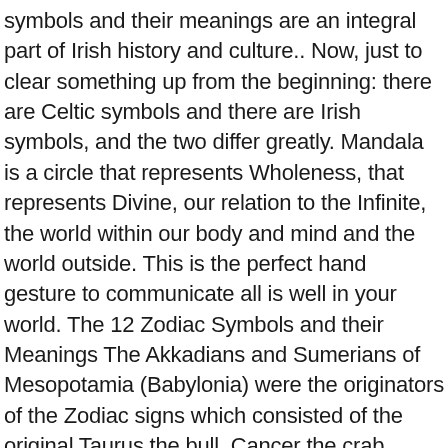symbols and their meanings are an integral part of Irish history and culture.. Now, just to clear something up from the beginning: there are Celtic symbols and there are Irish symbols, and the two differ greatly. Mandala is a circle that represents Wholeness, that represents Divine, our relation to the Infinite, the world within our body and mind and the world outside. This is the perfect hand gesture to communicate all is well in your world. The 12 Zodiac Symbols and their Meanings The Akkadians and Sumerians of Mesopotamia (Babylonia) were the originators of the Zodiac signs which consisted of the original Taurus the bull, Cancer the crab, Virgo the moon goddess, Scorpio the scorpion, Capricorn the goat-man, and Pisces the fisherman. Symbols.com is a unique online encyclopedia that contains everything about symbols, signs, flags and glyphs arranged by categories such as culture, country, religion, and more. an angel gave Adam the mysteries and secrets of Kabbalah and of Alchemy, promising that when the human race understand these